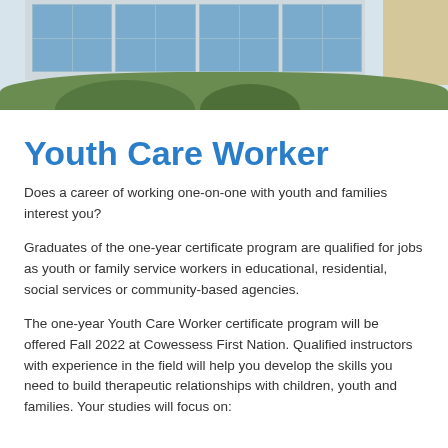[Figure (photo): Exterior photo of a building with large glass windows and brick wall, with green shrubs in the foreground]
Youth Care Worker
Does a career of working one-on-one with youth and families interest you?
Graduates of the one-year certificate program are qualified for jobs as youth or family service workers in educational, residential, social services or community-based agencies.
The one-year Youth Care Worker certificate program will be offered Fall 2022 at Cowessess First Nation. Qualified instructors with experience in the field will help you develop the skills you need to build therapeutic relationships with children, youth and families. Your studies will focus on: